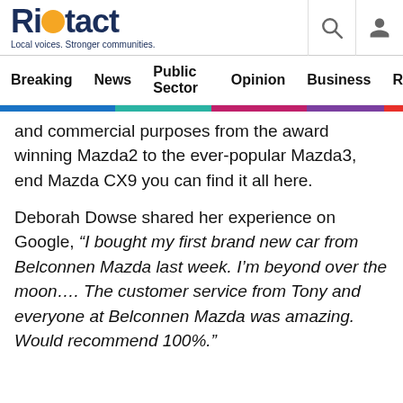Riotact — Local voices. Stronger communities.
Breaking   News   Public Sector   Opinion   Business   R
and commercial purposes from the award winning Mazda2 to the ever-popular Mazda3, end Mazda CX9 you can find it all here.
Deborah Dowse shared her experience on Google, “I bought my first brand new car from Belconnen Mazda last week. I’m beyond over the moon…. The customer service from Tony and everyone at Belconnen Mazda was amazing. Would recommend 100%.”